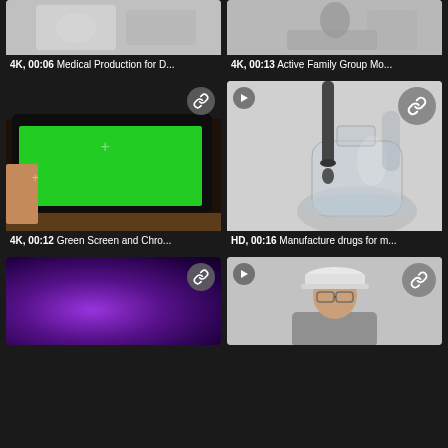[Figure (screenshot): Video thumbnail - medical production scene, grayscale]
4K, 00:06 Medical Production for D...
[Figure (screenshot): Video thumbnail - active family group moving, grayscale]
4K, 00:13 Active Family Group Mo...
[Figure (screenshot): Video thumbnail - green screen tablet with chroma key]
4K, 00:12 Green Screen and Chro...
[Figure (screenshot): Video thumbnail - manufacture drugs, liquid dropper into glass flask, grayscale]
HD, 00:16 Manufacture drugs for m...
[Figure (screenshot): Video thumbnail - purple blurred abstract background]
[Figure (screenshot): Video thumbnail - engineer/worker wearing white hard hat]